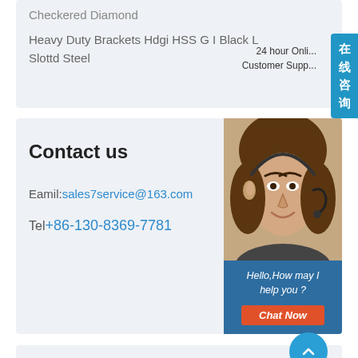Checkered Diamond
Heavy Duty Brackets Hdgi HSS G I Black L Slottd Steel
24 hour Online Customer Support
[Figure (illustration): Chinese sidebar tab with text '在线咨询' (Online Consultation) in blue]
Contact us
Eamil:sales7service@163.com
Tel+86-130-8369-7781
[Figure (photo): Customer support representative wearing headset, smiling, with chat bubble saying 'Hello,How may I help you?' and a Chat Now button]
News
Made cha 23mm seamless steel pipe tube